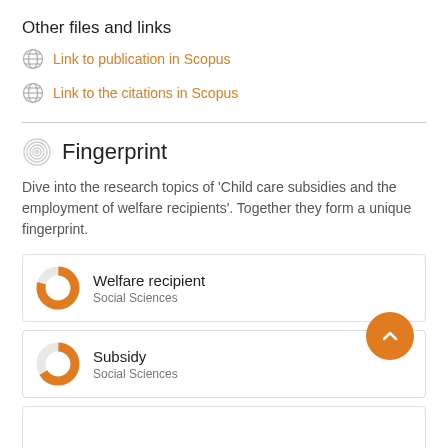Other files and links
Link to publication in Scopus
Link to the citations in Scopus
Fingerprint
Dive into the research topics of 'Child care subsidies and the employment of welfare recipients'. Together they form a unique fingerprint.
Welfare recipient
Social Sciences
Subsidy
Social Sciences